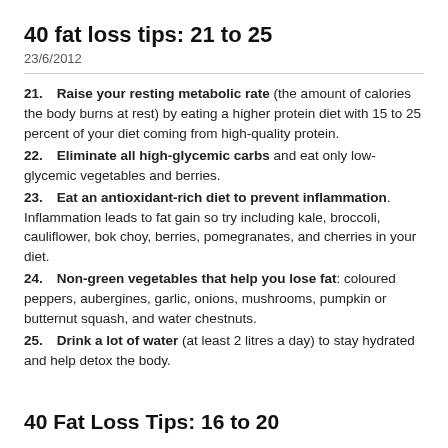40 fat loss tips: 21 to 25
23/6/2012
21. Raise your resting metabolic rate (the amount of calories the body burns at rest) by eating a higher protein diet with 15 to 25 percent of your diet coming from high-quality protein.
22. Eliminate all high-glycemic carbs and eat only low-glycemic vegetables and berries.
23. Eat an antioxidant-rich diet to prevent inflammation. Inflammation leads to fat gain so try including kale, broccoli, cauliflower, bok choy, berries, pomegranates, and cherries in your diet.
24. Non-green vegetables that help you lose fat: coloured peppers, aubergines, garlic, onions, mushrooms, pumpkin or butternut squash, and water chestnuts.
25. Drink a lot of water (at least 2 litres a day) to stay hydrated and help detox the body.
40 Fat Loss Tips: 16 to 20